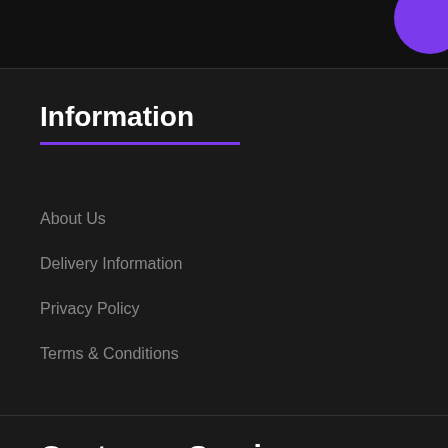Information
About Us
Delivery Information
Privacy Policy
Terms & Conditions
Customer Service
Contact Us